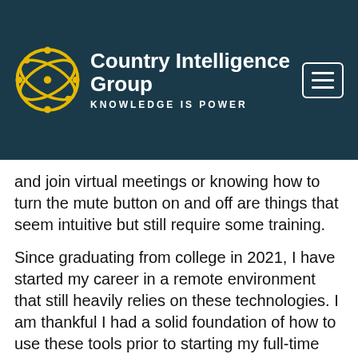Country Intelligence Group — KNOWLEDGE IS POWER
and join virtual meetings or knowing how to turn the mute button on and off are things that seem intuitive but still require some training.
Since graduating from college in 2021, I have started my career in a remote environment that still heavily relies on these technologies. I am thankful I had a solid foundation of how to use these tools prior to starting my full-time position. Learning how to efficiently work from home is a skillset that has taught me the significance of both independence and time management. Overall, my biggest takeaway is that technology is an incredibly powerful and crucial tool for not only the academic